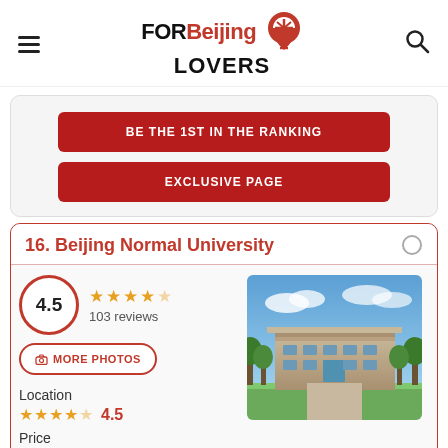FOR Beijing LOVERS
BE THE 1ST IN THE RANKING
EXCLUSIVE PAGE
16. Beijing Normal University
4.5 — 103 reviews — Location 4.5 — Price 4.2
MORE PHOTOS
[Figure (photo): Exterior photo of Beijing Normal University building with blue sky and trees]